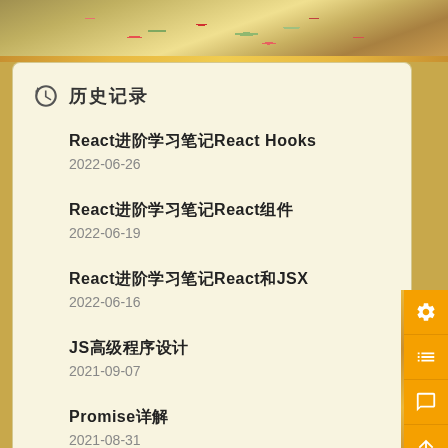[Figure (photo): Floral decorative banner at top of page with painted flowers (roses) in warm golden tones]
历史记录
React进阶学习笔记React Hooks
2022-06-26
React进阶学习笔记React组件
2022-06-19
React进阶学习笔记React和JSX
2022-06-16
JS高级程序设计
2021-09-07
Promise详解
2021-08-31